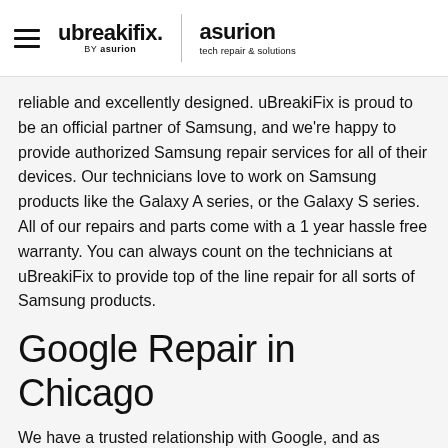ubreakifix. BY asurion | asurion tech repair & solutions
reliable and excellently designed. uBreakiFix is proud to be an official partner of Samsung, and we're happy to provide authorized Samsung repair services for all of their devices. Our technicians love to work on Samsung products like the Galaxy A series, or the Galaxy S series. All of our repairs and parts come with a 1 year hassle free warranty. You can always count on the technicians at uBreakiFix to provide top of the line repair for all sorts of Samsung products.
Google Repair in Chicago
We have a trusted relationship with Google, and as